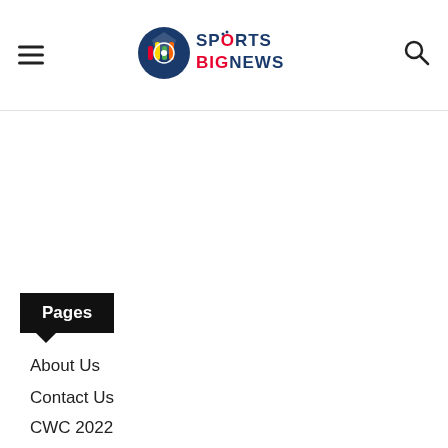Sports BigNews
Pages
About Us
Contact Us
CWC 2022
DMCA